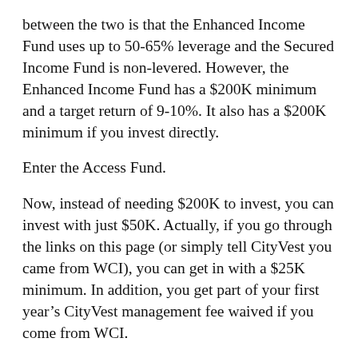between the two is that the Enhanced Income Fund uses up to 50-65% leverage and the Secured Income Fund is non-levered. However, the Enhanced Income Fund has a $200K minimum and a target return of 9-10%. It also has a $200K minimum if you invest directly.
Enter the Access Fund.
Now, instead of needing $200K to invest, you can invest with just $50K. Actually, if you go through the links on this page (or simply tell CityVest you came from WCI), you can get in with a $25K minimum. In addition, you get part of your first year’s CityVest management fee waived if you come from WCI.
But that only offsets part of the fee. The CityVest fees on this fund are: